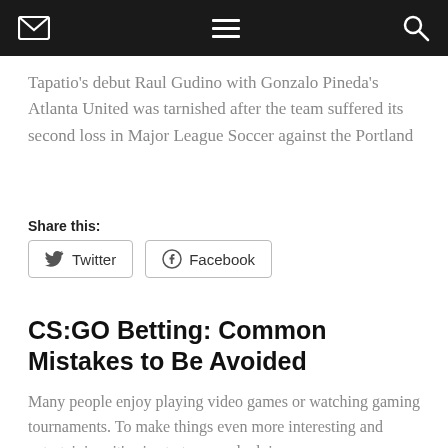[navigation bar with envelope icon, hamburger menu, search icon]
Tapatio's debut Raul Gudino with Gonzalo Pineda's Atlanta United was tarnished after the team suffered its second loss in Major League Soccer against the Portland
Share this:
Twitter  Facebook
CS:GO Betting: Common Mistakes to Be Avoided
Many people enjoy playing video games or watching gaming tournaments. To make things even more interesting and entertaining, it's nice to try your luck in
Share this:
Twitter  Facebook